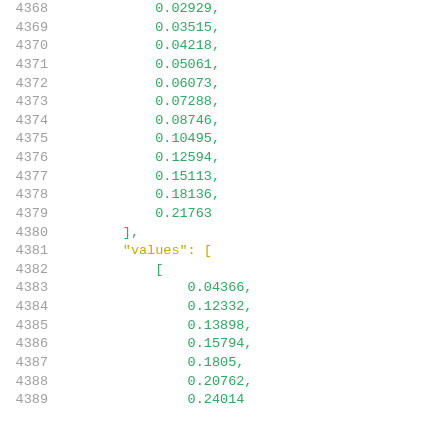Code listing showing numeric array data with line numbers 4368-4389, including values array ending with 0.21763 and values key opening a nested array with values 0.04366, 0.12332, 0.13898, 0.15794, 0.1805, 0.20762, 0.24014